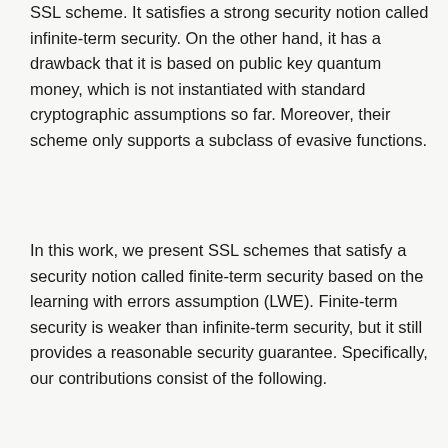SSL scheme. It satisfies a strong security notion called infinite-term security. On the other hand, it has a drawback that it is based on public key quantum money, which is not instantiated with standard cryptographic assumptions so far. Moreover, their scheme only supports a subclass of evasive functions.
In this work, we present SSL schemes that satisfy a security notion called finite-term security based on the learning with errors assumption (LWE). Finite-term security is weaker than infinite-term security, but it still provides a reasonable security guarantee. Specifically, our contributions consist of the following.